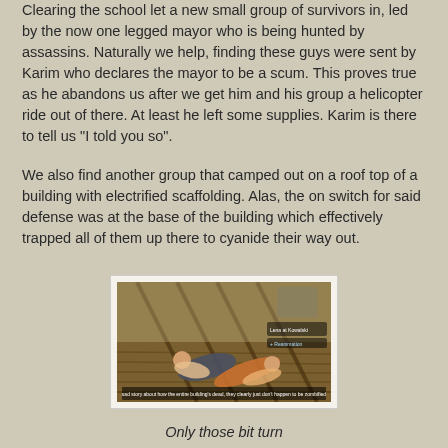Clearing the school let a new small group of survivors in, led by the now one legged mayor who is being hunted by assassins. Naturally we help, finding these guys were sent by Karim who declares the mayor to be a scum. This proves true as he abandons us after we get him and his group a helicopter ride out of there. At least he left some supplies. Karim is there to tell us "I told you so".
We also find another group that camped out on a roof top of a building with electrified scaffolding. Alas, the on switch for said defense was at the base of the building which effectively trapped all of them up there to cyanide their way out.
[Figure (screenshot): Game screenshot showing characters lying on a rooftop with wooden planks and scaffolding visible, from what appears to be a zombie survival game.]
Only those bit turn